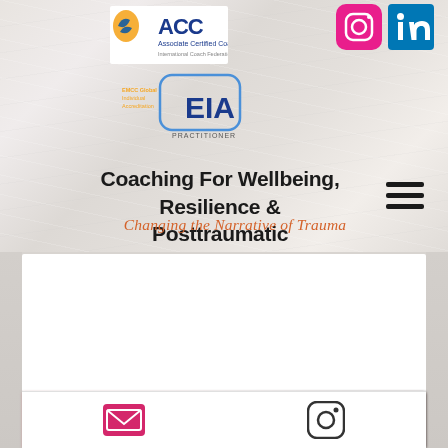[Figure (logo): ACC Associate Certified Coach International Coach Federation logo with orange and blue design]
[Figure (logo): Instagram pink social media icon]
[Figure (logo): LinkedIn blue social media icon]
[Figure (logo): EMCC Global Individual Accreditation EIA Practitioner logo with orange and blue design]
Coaching For Wellbeing, Resilience & Posttraumatic Growth
Changing the Narrative of Trauma
The Power of Paradox
[Figure (photo): Partially blurred/obscured photo, appears to show a person, mostly obscured]
[Figure (logo): Email envelope icon in pink/magenta]
[Figure (logo): Instagram icon in dark/outline style]